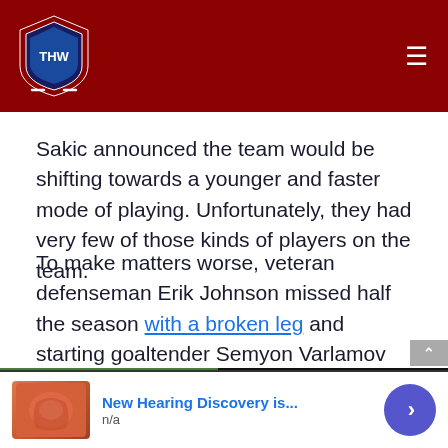THW (The Hockey Writers) logo and navigation header
Sakic announced the team would be shifting towards a younger and faster mode of playing. Unfortunately, they had very few of those kinds of players on the team.
To make matters worse, veteran defenseman Erik Johnson missed half the season with a broken leg and starting goaltender Semyon Varlamov underwent season-ending surgery, leaving backup Calvin Pickard to take the lion's share
[Figure (screenshot): Video thumbnail showing Stanley Cup celebration with overlay text 'TOP 3 CRAZIEST MOMENTS OF THE STANLEY CUP' and adjacent panel with text 'Kicked, Peed On, Danced On, Slept With - The Stanley Cup Has Been Through The Ringer.']
[Figure (infographic): Advertisement: 'New Hearing Discovery is...' with image and blue circular arrow button]